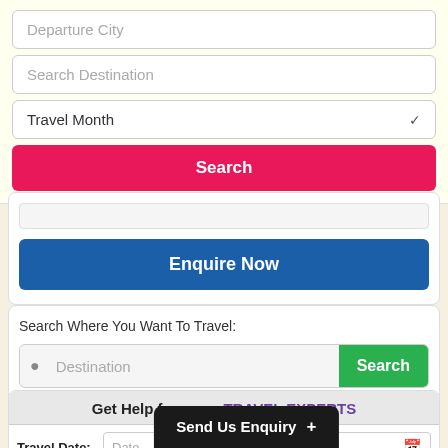Departure City
Search Destination
Travel Month
Search
Enquire Now
Search Where You Want To Travel:
Destination
Search
Get Help from our TRAVEL EXPERTS
Travel Date:
Date
Send Us Enquiry +